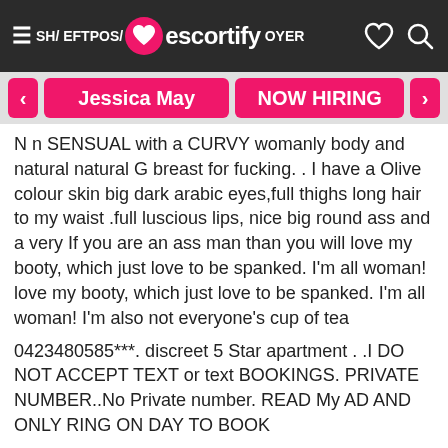SH/ EFTPOS/ escortify OYER
Jessica May | NOW HIRING
N n SENSUAL with a CURVY womanly body and natural natural G breast for fucking. . I have a Olive colour skin big dark arabic eyes,full thighs long hair to my waist .full luscious lips, nice big round ass and a very If you are an ass man than you will love my booty, which just love to be spanked. I'm all woman! love my booty, which just love to be spanked. I'm all woman! I'm also not everyone's cup of tea
0423480585***. discreet 5 Star apartment . .I DO NOT ACCEPT TEXT or text BOOKINGS. PRIVATE NUMBER..No Private number. READ My AD AND ONLY RING ON DAY TO BOOK
I am clean and fully shaven for your enjoyment, I love receiving oral on me